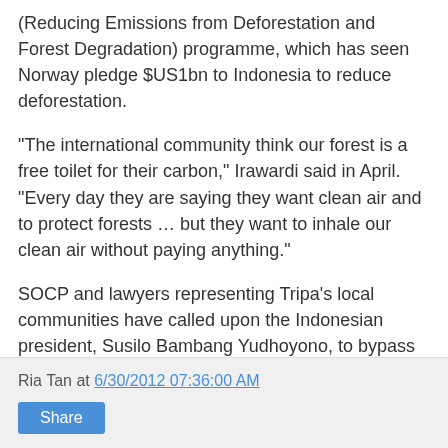(Reducing Emissions from Deforestation and Forest Degradation) programme, which has seen Norway pledge $US1bn to Indonesia to reduce deforestation.
"The international community think our forest is a free toilet for their carbon," Irawardi said in April. "Every day they are saying they want clean air and to protect forests … but they want to inhale our clean air without paying anything."
SOCP and lawyers representing Tripa's local communities have called upon the Indonesian president, Susilo Bambang Yudhoyono, to bypass an ongoing government investigation into the forest clearing and immediately halt the razing of the area.
"This whole thing makes absolutely no sense at all, not environmentally, nor even economically," said Singleton.
Ria Tan at 6/30/2012 07:36:00 AM   Share